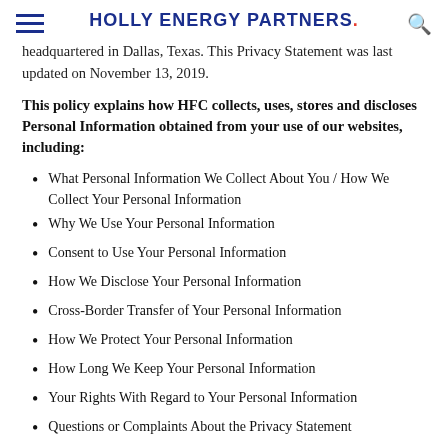HOLLY ENERGY PARTNERS.
headquartered in Dallas, Texas. This Privacy Statement was last updated on November 13, 2019.
This policy explains how HFC collects, uses, stores and discloses Personal Information obtained from your use of our websites, including:
What Personal Information We Collect About You / How We Collect Your Personal Information
Why We Use Your Personal Information
Consent to Use Your Personal Information
How We Disclose Your Personal Information
Cross-Border Transfer of Your Personal Information
How We Protect Your Personal Information
How Long We Keep Your Personal Information
Your Rights With Regard to Your Personal Information
Questions or Complaints About the Privacy Statement